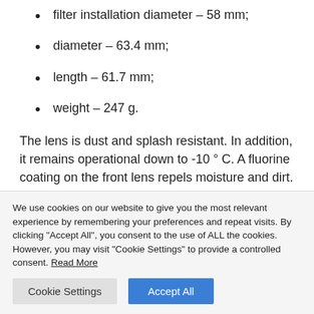filter installation diameter – 58 mm;
diameter – 63.4 mm;
length – 61.7 mm;
weight – 247 g.
The lens is dust and splash resistant. In addition, it remains operational down to -10 ° C. A fluorine coating on the front lens repels moisture and dirt. The novelty should appear on sale at the end of
We use cookies on our website to give you the most relevant experience by remembering your preferences and repeat visits. By clicking "Accept All", you consent to the use of ALL the cookies. However, you may visit "Cookie Settings" to provide a controlled consent. Read More